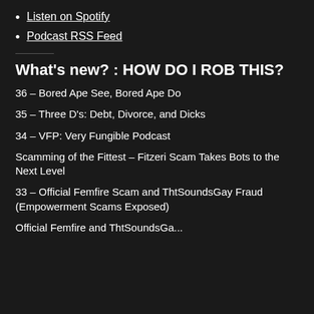Listen on Spotify
Podcast RSS Feed
What's new? : HOW DO I ROB THIS?
36 – Bored Ape See, Bored Ape Do
35 – Three D's: Debt, Divorce, and Dicks
34 – VFP: Very Fungible Podcast
Scamming of the Fittest – Fitzeri Scam Takes Bots to the Next Level
33 – Official Femfire Scam and ThtSoundsGay Fraud (Empowerment Scams Exposed)
Official Femfire and ThtSoundsGa...